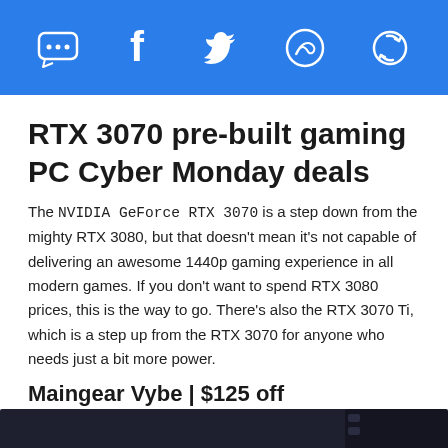SMS | f | Twitter | WhatsApp | Share
RTX 3070 pre-built gaming PC Cyber Monday deals
The NVIDIA GeForce RTX 3070 is a step down from the mighty RTX 3080, but that doesn't mean it's not capable of delivering an awesome 1440p gaming experience in all modern games. If you don't want to spend RTX 3080 prices, this is the way to go. There's also the RTX 3070 Ti, which is a step up from the RTX 3070 for anyone who needs just a bit more power.
Maingear Vybe | $125 off
[Figure (photo): Photo of a Maingear Vybe gaming PC case, dark colored tower with front panel showing drive bays and ventilation, partially cropped at bottom of page]